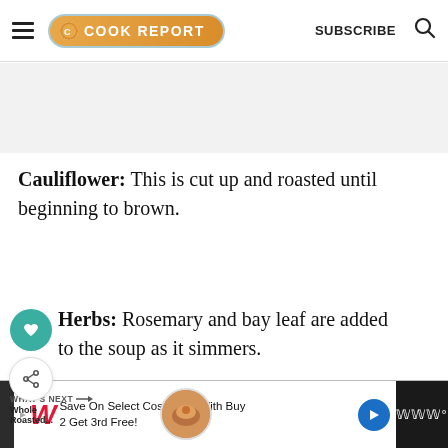THE COOK REPORT | SUBSCRIBE
Cauliflower: This is cut up and roasted until beginning to brown.
Herbs: Rosemary and bay leaf are added the soup as it simmers.
d Lemon: Just half a preserved lemon is finely chopped and added to the
[Figure (screenshot): Advertisement banner: Walgreens – Save On Select Cosmetics With Buy 2 Get 3rd Free!]